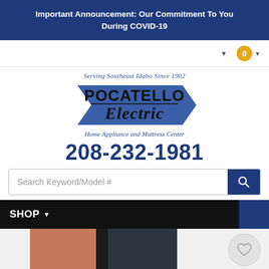Important Announcement: Our Commitment To You During COVID-19
[Figure (logo): Pocatello Electric logo with tagline 'Serving Southeast Idaho Since 1902' and 'Home Appliance and Mattress Center']
208-232-1981
[Figure (screenshot): Search bar with placeholder text 'Search Keyword/Model #' and a blue search button]
SHOP
[Figure (photo): Product image showing appliances in brown/copper and dark navy/black color]